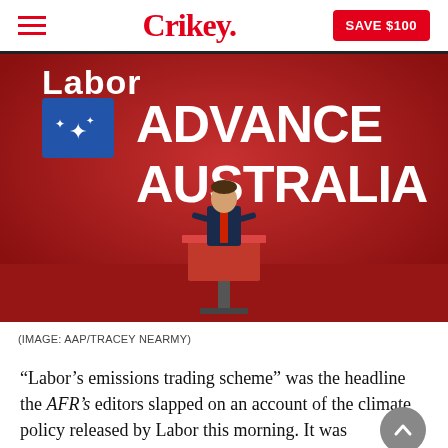Crikey. SAVE $100
[Figure (photo): A person in a dark suit standing at a podium on a stage with a large red background displaying 'Labor ADVANCE AUSTRALIA' text with the Australian Labor Party logo.]
(IMAGE: AAP/TRACEY NEARMY)
“Labor’s emissions trading scheme” was the headline the AFR’s editors slapped on an account of the climate policy released by Labor this morning. It was